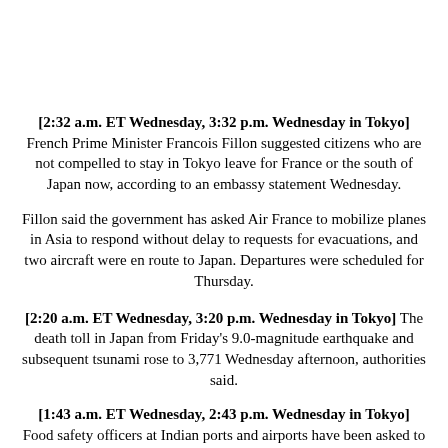[2:32 a.m. ET Wednesday, 3:32 p.m. Wednesday in Tokyo] French Prime Minister Francois Fillon suggested citizens who are not compelled to stay in Tokyo leave for France or the south of Japan now, according to an embassy statement Wednesday.
Fillon said the government has asked Air France to mobilize planes in Asia to respond without delay to requests for evacuations, and two aircraft were en route to Japan. Departures were scheduled for Thursday.
[2:20 a.m. ET Wednesday, 3:20 p.m. Wednesday in Tokyo] The death toll in Japan from Friday's 9.0-magnitude earthquake and subsequent tsunami rose to 3,771 Wednesday afternoon, authorities said.
[1:43 a.m. ET Wednesday, 2:43 p.m. Wednesday in Tokyo] Food safety officers at Indian ports and airports have been asked to test food that came to the country from Japan after March 11 for...